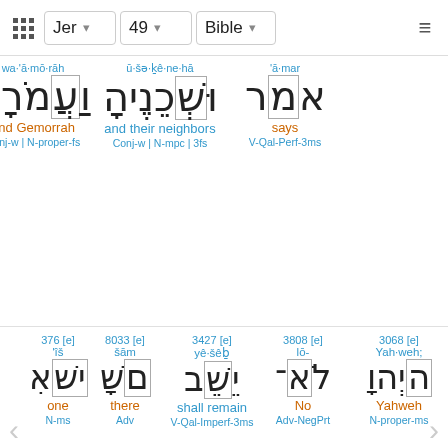Jer | 49 | Bible
'ā·mar | ū·šə·ḵê·ne·hā | wa·'ā·mō·rāh
Hebrew: אָמַר | וּשְׁכֵנֶיהָ | וַעֲמֹרָה
says | and their neighbors | and Gemorrah
V-Qal-Perf-3ms | Conj-w | N-mpc | 3fs | Conj-w | N-proper-fs
376 [e] 'îš N-ms one | 8033 [e] šām Adv there | 3427 [e] yê·šêḇ V-Qal-Imperf-3ms shall remain | 3808 [e] lō- Adv-NegPrt No | 3068 [e] Yah·weh; N-proper-ms Yahweh
1121 [e] ben- | 1481 [e] yā·ḡūr | 3808 [e] wə·lō-